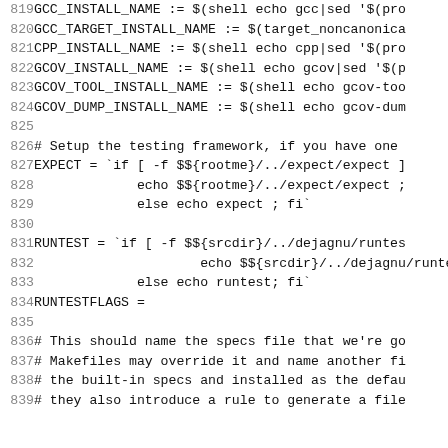819  GCC_INSTALL_NAME := $(shell echo gcc|sed '$(pro
820  GCC_TARGET_INSTALL_NAME := $(target_noncanonica
821  CPP_INSTALL_NAME := $(shell echo cpp|sed '$(pro
822  GCOV_INSTALL_NAME := $(shell echo gcov|sed '$(p
823  GCOV_TOOL_INSTALL_NAME := $(shell echo gcov-too
824  GCOV_DUMP_INSTALL_NAME := $(shell echo gcov-dum
825
826  # Setup the testing framework, if you have one
827  EXPECT = `if [ -f $${rootme}/../expect/expect ]
828              echo $${rootme}/../expect/expect ;
829              else echo expect ; fi`
830
831  RUNTEST = `if [ -f $${srcdir}/../dejagnu/runtes
832                    echo $${srcdir}/../dejagnu/runte
833              else echo runtest; fi`
834  RUNTESTFLAGS =
835
836  # This should name the specs file that we're go
837  # Makefiles may override it and name another fi
838  # the built-in specs and installed as the defau
839  # they also introduce a rule to generate a file